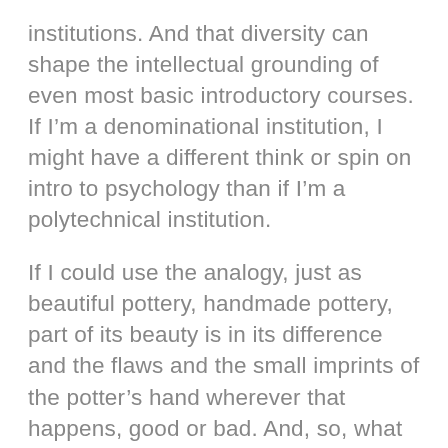institutions. And that diversity can shape the intellectual grounding of even most basic introductory courses. If I'm a denominational institution, I might have a different think or spin on intro to psychology than if I'm a polytechnical institution.
If I could use the analogy, just as beautiful pottery, handmade pottery, part of its beauty is in its difference and the flaws and the small imprints of the potter's hand wherever that happens, good or bad. And, so, what people who collect pottery love about that is that sense that each one is different and beautiful in its own right. But, if you had to provide pottery for all of the population of India, it would be a pretty expensive way to produce pots. So, you can commoditize and mass manufacture pots,